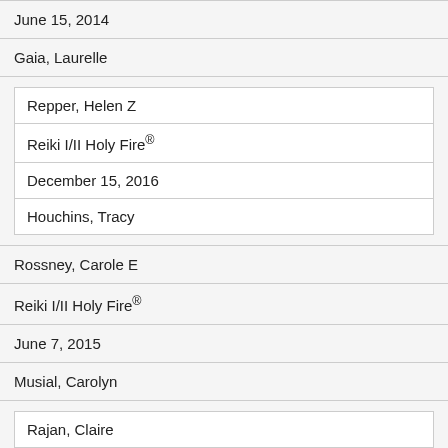| June 15, 2014 |
| Gaia, Laurelle |
| ['Repper, Helen Z', 'Reiki I/II Holy Fire®', 'December 15, 2016', 'Houchins, Tracy'] |
| Rossney, Carole E |
| Reiki I/II Holy Fire® |
| June 7, 2015 |
| Musial, Carolyn |
| ['Rajan, Claire'] |